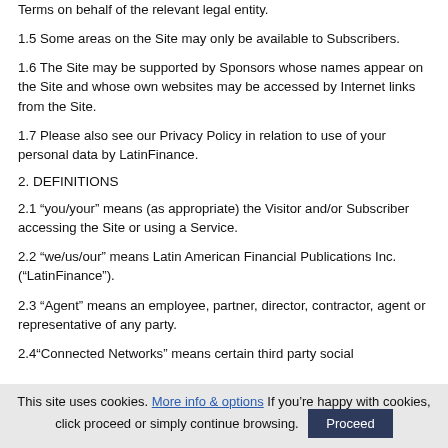Terms on behalf of the relevant legal entity.
1.5 Some areas on the Site may only be available to Subscribers.
1.6 The Site may be supported by Sponsors whose names appear on the Site and whose own websites may be accessed by Internet links from the Site.
1.7 Please also see our Privacy Policy in relation to use of your personal data by LatinFinance.
2. DEFINITIONS
2.1 “you/your” means (as appropriate) the Visitor and/or Subscriber accessing the Site or using a Service.
2.2 “we/us/our” means Latin American Financial Publications Inc. (“LatinFinance”).
2.3 “Agent” means an employee, partner, director, contractor, agent or representative of any party.
2.4“Connected Networks” means certain third party social
This site uses cookies. More info & options If you’re happy with cookies, click proceed or simply continue browsing. Proceed